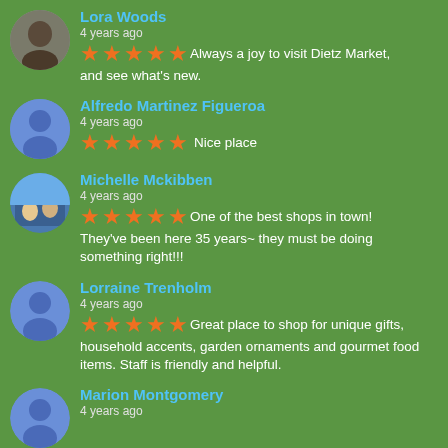Lora Woods
4 years ago
★★★★★ Always a joy to visit Dietz Market, and see what's new.
Alfredo Martinez Figueroa
4 years ago
★★★★★ Nice place
Michelle Mckibben
4 years ago
★★★★★ One of the best shops in town! They've been here 35 years~ they must be doing something right!!!
Lorraine Trenholm
4 years ago
★★★★★ Great place to shop for unique gifts, household accents, garden ornaments and gourmet food items. Staff is friendly and helpful.
Marion Montgomery
4 years ago